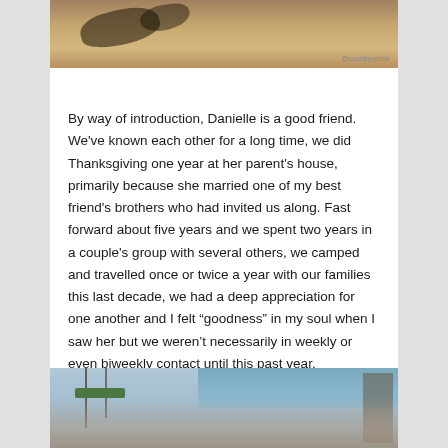[Figure (photo): Top portion of an outdoor photo showing sandy/earthy ground with shadows, watermark '@countrygirlnla' in bottom right corner]
By way of introduction, Danielle is a good friend.  We've known each other for a long time, we did Thanksgiving one year at her parent's house, primarily because she married one of my best friend's brothers who had invited us along.  Fast forward about five years and we spent two years in a couple's group with several others, we camped and travelled once or twice a year with our families this last decade, we had a deep appreciation for one another and I felt “goodness” in my soul when I saw her but we weren’t necessarily in weekly or even biweekly contact until this past year.
[Figure (photo): Group photo of women on a boat/dock with water and marina visible in the background]